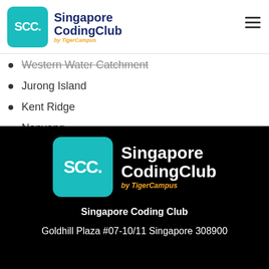SCC. Singapore CodingClub by TigerCampus
Western Water Catchment
Jurong Island
Kent Ridge
Nanyang
[Figure (logo): Singapore Coding Club by TigerCampus logo on black background]
Singapore Coding Club
Goldhill Plaza #07-10/11 Singapore 308900